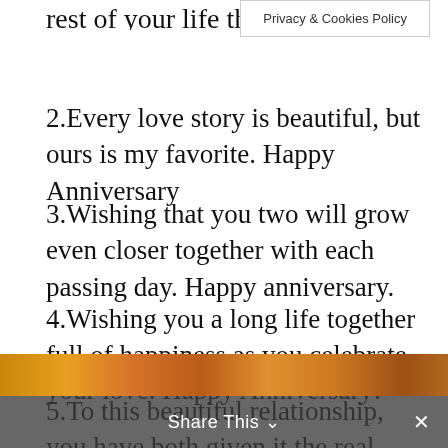rest of your life then
Privacy & Cookies Policy
2.Every love story is beautiful, but ours is my favorite. Happy Anniversary
3.Wishing that you two will grow even closer together with each passing day. Happy anniversary.
4.Wishing you a long life together full of happiness as you celebrate your love. Happy Anniversary!
5.To this beautiful relationship, you have both given it the real meaning. I wish you a happy anniversary.
[Figure (photo): Autumn leaves photo at the bottom of the page]
Share This ∨